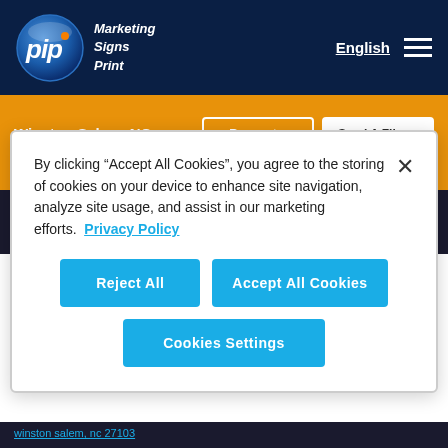[Figure (logo): PIP Marketing Signs Print logo - circular blue gradient logo with white 'pip' text and orange dot, with tagline 'Marketing Signs Print']
English
Winston Salem, NC
336-768-5061
Request a Quote
Send A File
Back to the Gym: Safely Return to a Gym or Fitness Club
By clicking “Accept All Cookies”, you agree to the storing of cookies on your device to enhance site navigation, analyze site usage, and assist in our marketing efforts. Privacy Policy
Reject All
Accept All Cookies
Cookies Settings